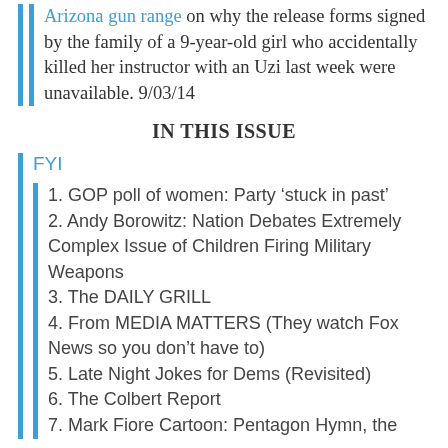Arizona gun range on why the release forms signed by the family of a 9-year-old girl who accidentally killed her instructor with an Uzi last week were unavailable. 9/03/14
IN THIS ISSUE
FYI
1. GOP poll of women: Party ‘stuck in past’
2. Andy Borowitz: Nation Debates Extremely Complex Issue of Children Firing Military Weapons
3. The DAILY GRILL
4. From MEDIA MATTERS (They watch Fox News so you don’t have to)
5. Late Night Jokes for Dems (Revisited)
6. The Colbert Report
7. Mark Fiore Cartoon: Pentagon Hymn, the